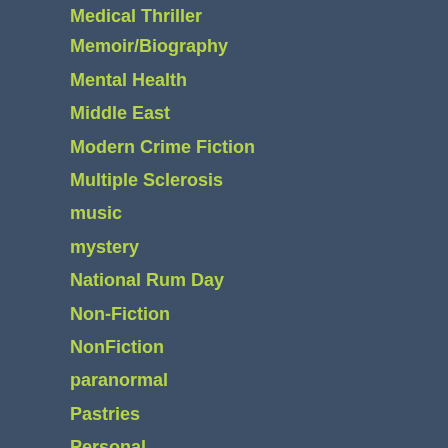Medical Thriller
Memoir/Biography
Mental Health
Middle East
Modern Crime Fiction
Multiple Sclerosis
music
mystery
National Rum Day
Non-Fiction
NonFiction
paranormal
Pastries
Personal
Plant-Based Diet
Poetry
Police Procedural
Political Thriller